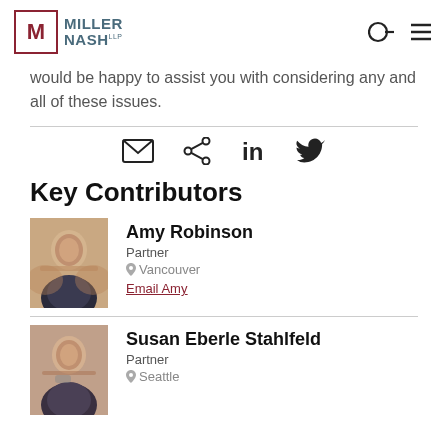Miller Nash LLP
would be happy to assist you with considering any and all of these issues.
[Figure (other): Social sharing icons: email envelope, share, LinkedIn, Twitter]
Key Contributors
Amy Robinson
Partner
Vancouver
Email Amy
Susan Eberle Stahlfeld
Partner
Seattle